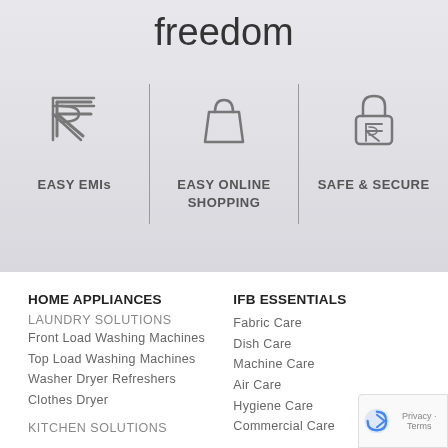freedom
[Figure (infographic): Three-column infographic with icons: EASY EMIs (rupee symbol icon), EASY ONLINE SHOPPING (shopping bag icon), SAFE & SECURE (padlock with rupee icon), separated by vertical dividers]
HOME APPLIANCES
LAUNDRY SOLUTIONS
Front Load Washing Machines
Top Load Washing Machines
Washer Dryer Refreshers
Clothes Dryer
KITCHEN SOLUTIONS
IFB ESSENTIALS
Fabric Care
Dish Care
Machine Care
Air Care
Hygiene Care
Commercial Care